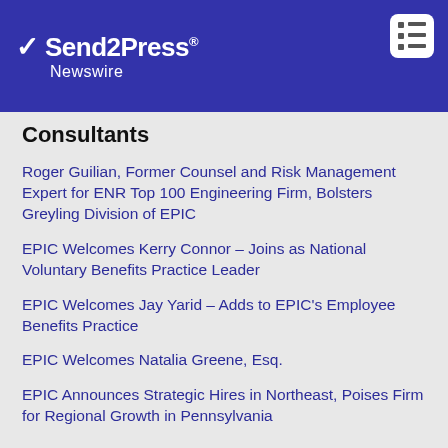Send2Press Newswire
Consultants
Roger Guilian, Former Counsel and Risk Management Expert for ENR Top 100 Engineering Firm, Bolsters Greyling Division of EPIC
EPIC Welcomes Kerry Connor – Joins as National Voluntary Benefits Practice Leader
EPIC Welcomes Jay Yarid – Adds to EPIC's Employee Benefits Practice
EPIC Welcomes Natalia Greene, Esq.
EPIC Announces Strategic Hires in Northeast, Poises Firm for Regional Growth in Pennsylvania